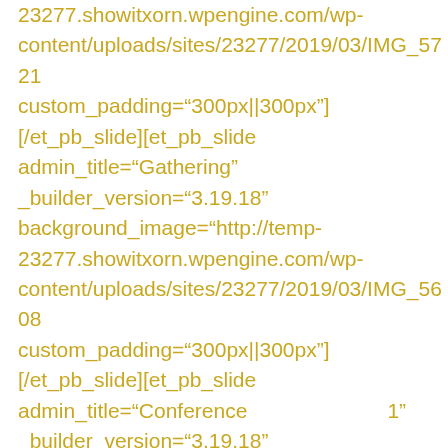23277.showitxorn.wpengine.com/wp-content/uploads/sites/23277/2019/03/IMG_5721 custom_padding="300px||300px"] [/et_pb_slide][et_pb_slide admin_title="Gathering" _builder_version="3.19.18" background_image="http://temp-23277.showitxorn.wpengine.com/wp-content/uploads/sites/23277/2019/03/IMG_5608 custom_padding="300px||300px"] [/et_pb_slide][et_pb_slide admin_title="Conference                    1" _builder_version="3.19.18"